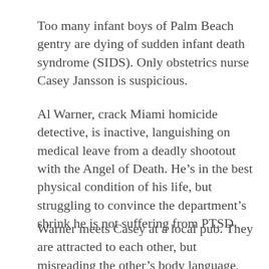Too many infant boys of Palm Beach gentry are dying of sudden infant death syndrome (SIDS). Only obstetrics nurse Casey Jansson is suspicious.
Al Warner, crack Miami homicide detective, is inactive, languishing on medical leave from a deadly shootout with the Angel of Death. He’s in the best physical condition of his life, but struggling to convince the department’s shrink he is not suffering from PTSD.
Warner meets Casey at a local pub. They are attracted to each other, but misreading the other’s body language, remain reserved. Learning of the